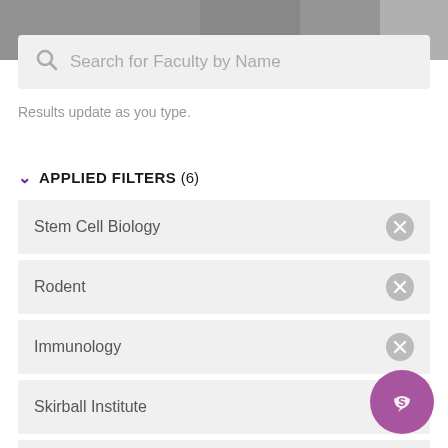[Figure (screenshot): Top banner with blurred background image of a person]
Search for Faculty by Name
Results update as you type.
APPLIED FILTERS (6)
Stem Cell Biology
Rodent
Immunology
Skirball Institute
Metabolism